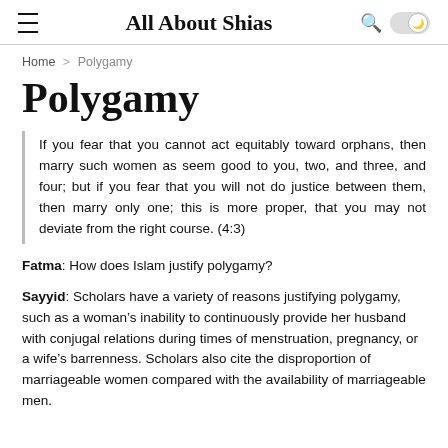All About Shias
Home > Polygamy
Polygamy
If you fear that you cannot act equitably toward orphans, then marry such women as seem good to you, two, and three, and four; but if you fear that you will not do justice between them, then marry only one; this is more proper, that you may not deviate from the right course. (4:3)
Fatma: How does Islam justify polygamy?
Sayyid: Scholars have a variety of reasons justifying polygamy, such as a woman’s inability to continuously provide her husband with conjugal relations during times of menstruation, pregnancy, or a wife’s barrenness. Scholars also cite the disproportion of marriageable women compared with the availability of marriageable men.